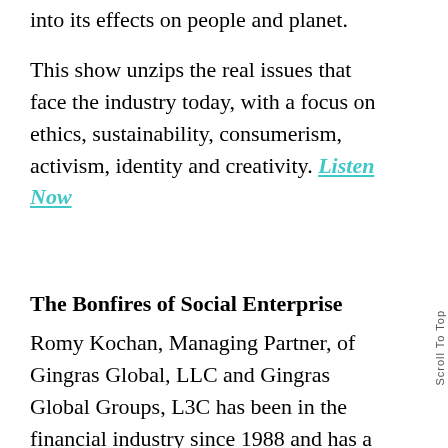into its effects on people and planet.
This show unzips the real issues that face the industry today, with a focus on ethics, sustainability, consumerism, activism, identity and creativity. Listen Now
The Bonfires of Social Enterprise
Romy Kochan, Managing Partner, of Gingras Global, LLC and Gingras Global Groups, L3C has been in the financial industry since 1988 and has a passion for efficient, profitable, social enterprises and the impact investors who